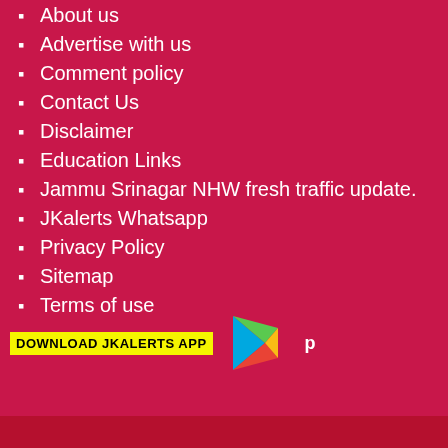About us
Advertise with us
Comment policy
Contact Us
Disclaimer
Education Links
Jammu Srinagar NHW fresh traffic update.
JKalerts Whatsapp
Privacy Policy
Sitemap
Terms of use
[Figure (logo): Download JKalerts App banner with Google Play icon]